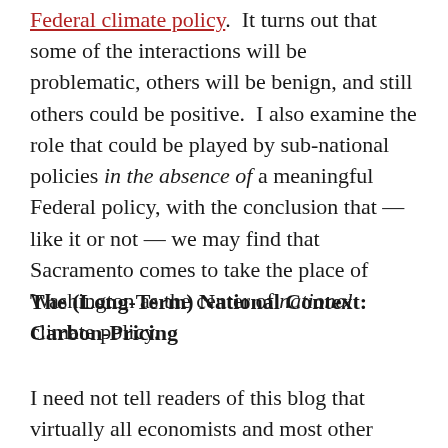Federal climate policy. It turns out that some of the interactions will be problematic, others will be benign, and still others could be positive. I also examine the role that could be played by sub-national policies in the absence of a meaningful Federal policy, with the conclusion that — like it or not — we may find that Sacramento comes to take the place of Washington as the center of national climate policy.
The (Long-Term) National Context: Carbon-Pricing
I need not tell readers of this blog that virtually all economists and most other policy analysts